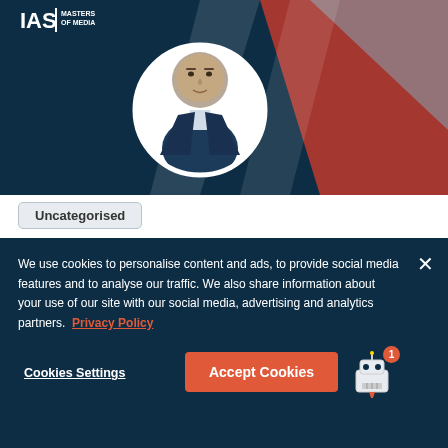[Figure (photo): IAS Masters of Media banner with dark navy background, geometric X-shape in red and grey, and circular portrait photo of a man in a navy suit]
Uncategorised
Masters of Media...
We use cookies to personalise content and ads, to provide social media features and to analyse our traffic. We also share information about your use of our site with our social media, advertising and analytics partners. Privacy Policy
Cookies Settings
Accept Cookies